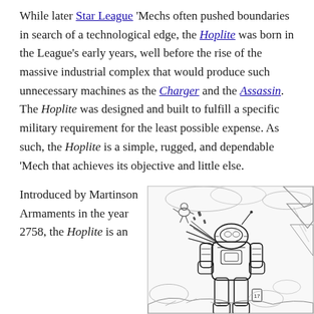While later Star League 'Mechs often pushed boundaries in search of a technological edge, the Hoplite was born in the League's early years, well before the rise of the massive industrial complex that would produce such unnecessary machines as the Charger and the Assassin. The Hoplite was designed and built to fulfill a specific military requirement for the least possible expense. As such, the Hoplite is a simple, rugged, and dependable 'Mech that achieves its objective and little else.
Introduced by Martinson Armaments in the year 2758, the Hoplite is an
[Figure (illustration): Black and white line art illustration of a Hoplite BattleMech robot in action, firing weapons, with a smaller figure fleeing nearby and rocky/cloudy terrain in the background.]